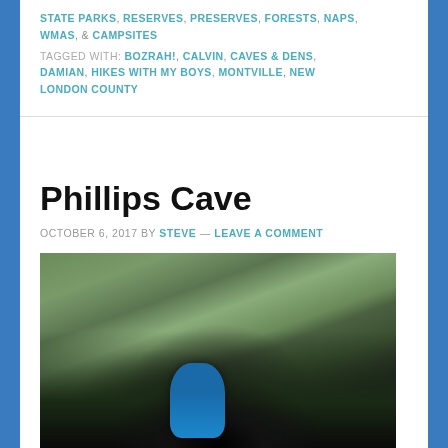STATE PARKS, RESERVES, PRESERVES, FORESTS, NAPS, WMAS, & CAMPSITES
TAGGED WITH: BOZRAH!, CALVIN, CAVES & DENS, DAMIAN, HIKES WITH MY BOYS, MONTVILLE, NEW LONDON COUNTY
Phillips Cave
OCTOBER 6, 2017 BY STEVE — LEAVE A COMMENT
[Figure (photo): Photo of a mossy rock cave entrance with ferns in the background and a child in a blue shirt crouching at the cave opening]